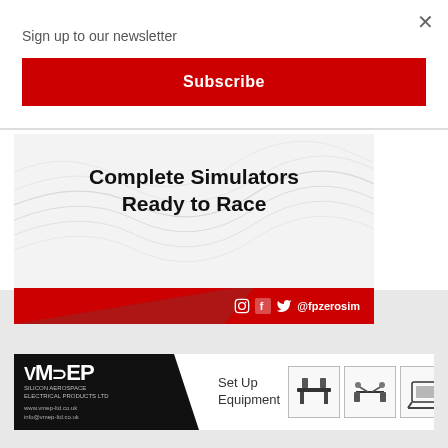Sign up to our newsletter
×
Subscribe
[Figure (illustration): FP Zero Sim advertisement showing 'Complete Simulators Ready to Race' text over a white background with grey wave lines, red footer bar with social media icons and @fpzerosim handle]
[Figure (illustration): VMEP advertisement banner with black left section showing VMEP logo and website details, white right section with 'Set Up Equipment' text and three product images of racing setup equipment]